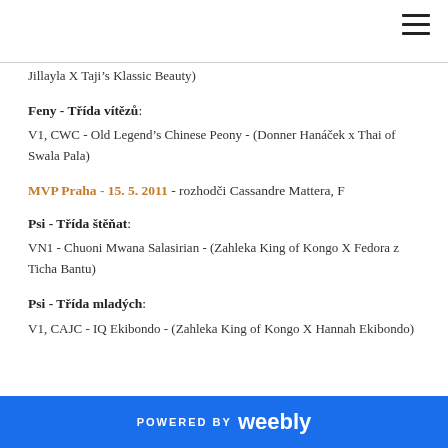Jillayla X Taji's Klassic Beauty)
Feny - Třída vítězů:
V1, CWC - Old Legend's Chinese Peony - (Donner Hanáček x Thai of Swala Pala)
MVP Praha - 15. 5. 2011 - rozhodči Cassandre Mattera, F
Psi - Třída štěňat:
VN1 - Chuoni Mwana Salasirian - (Zahleka King of Kongo X Fedora z Ticha Bantu)
Psi - Třída mladých:
V1, CAJC - IQ Ekibondo - (Zahleka King of Kongo X Hannah Ekibondo)
POWERED BY weebly